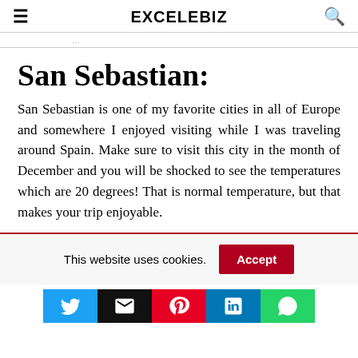EXCELEBIZ
San Sebastian:
San Sebastian is one of my favorite cities in all of Europe and somewhere I enjoyed visiting while I was traveling around Spain. Make sure to visit this city in the month of December and you will be shocked to see the temperatures which are 20 degrees! That is normal temperature, but that makes your trip enjoyable.
This website uses cookies.
[Figure (other): Social share buttons: Twitter, Email, Pinterest, LinkedIn, WhatsApp]